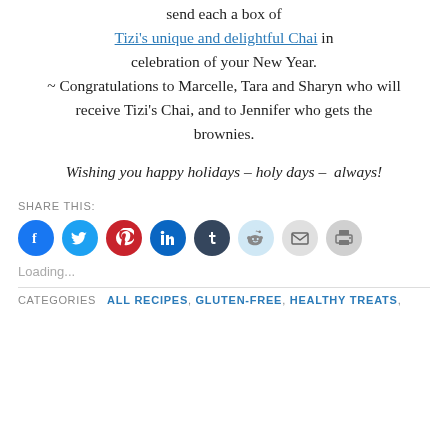send each a box of Tizi’s unique and delightful Chai in celebration of your New Year. ~ Congratulations to Marcelle, Tara and Sharyn who will receive Tizi’s Chai, and to Jennifer who gets the brownies.
Wishing you happy holidays – holy days –  always!
SHARE THIS:
[Figure (infographic): Row of social sharing icon buttons: Facebook (blue), Twitter (blue), Pinterest (red), LinkedIn (blue), Tumblr (dark), Reddit (light blue), Email (grey), Print (grey)]
Loading...
CATEGORIES  ALL RECIPES, GLUTEN-FREE, HEALTHY TREATS,